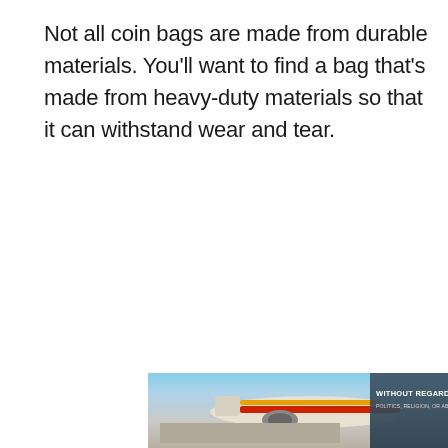Not all coin bags are made from durable materials. You'll want to find a bag that's made from heavy-duty materials so that it can withstand wear and tear.
[Figure (photo): Advertisement banner showing an airplane being loaded with cargo on a tarmac, with an overlay text panel reading 'WITHOUT REGARD TO POLITICS, RELIGION, OR ABILITY TO PAY']